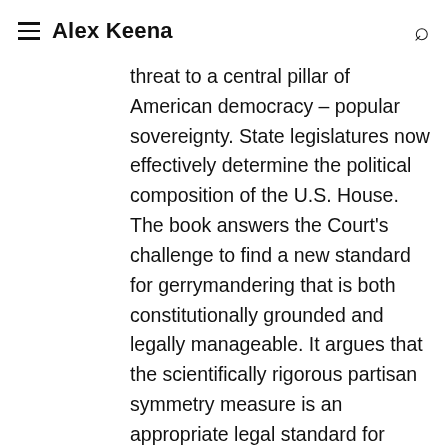≡ Alex Keena 🔍
threat to a central pillar of American democracy – popular sovereignty. State legislatures now effectively determine the political composition of the U.S. House. The book answers the Court's challenge to find a new standard for gerrymandering that is both constitutionally grounded and legally manageable. It argues that the scientifically rigorous partisan symmetry measure is an appropriate legal standard for partisan gerrymandering, as it is a